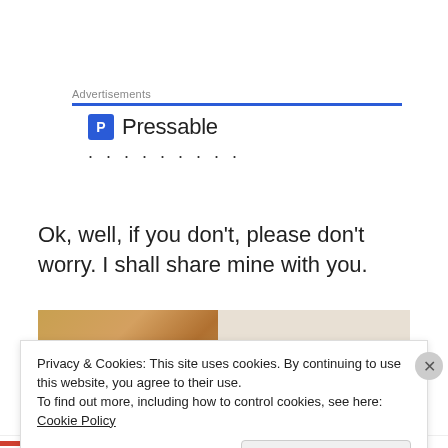Advertisements
[Figure (logo): Pressable logo with blue shield icon and text 'Pressable', followed by a row of dots]
Ok, well, if you don't, please don't worry.  I shall share mine with you.
[Figure (photo): Close-up photo of a cookie on a plate, with handwritten-style text in the background]
Privacy & Cookies: This site uses cookies. By continuing to use this website, you agree to their use.
To find out more, including how to control cookies, see here: Cookie Policy
Close and accept